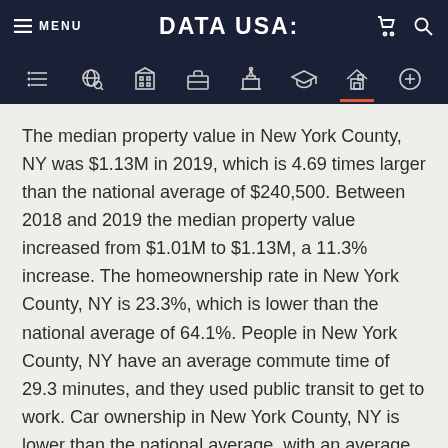MENU | DATA USA: | [cart] [search]
The median property value in New York County, NY was $1.13M in 2019, which is 4.69 times larger than the national average of $240,500. Between 2018 and 2019 the median property value increased from $1.01M to $1.13M, a 11.3% increase. The homeownership rate in New York County, NY is 23.3%, which is lower than the national average of 64.1%. People in New York County, NY have an average commute time of 29.3 minutes, and they used public transit to get to work. Car ownership in New York County, NY is lower than the national average, with an average of 0 cars per household.